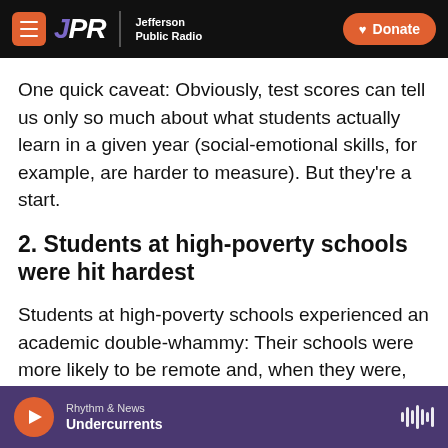JPR Jefferson Public Radio | Donate
One quick caveat: Obviously, test scores can tell us only so much about what students actually learn in a given year (social-emotional skills, for example, are harder to measure). But they're a start.
2. Students at high-poverty schools were hit hardest
Students at high-poverty schools experienced an academic double-whammy: Their schools were more likely to be remote and, when they were, students missed more learning.
Rhythm & News | Undercurrents